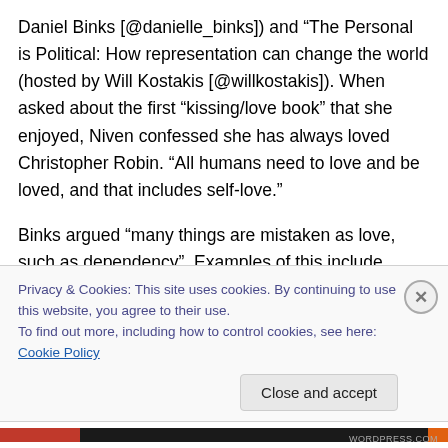Daniel Binks [@danielle_binks]) and “The Personal is Political: How representation can change the world (hosted by Will Kostakis [@willkostakis]). When asked about the first “kissing/love book” that she enjoyed, Niven confessed she has always loved Christopher Robin. “All humans need to love and be loved, and that includes self-love.”
Binks argued “many things are mistaken as love, such as dependency”. Examples of this include Catherine and Heathcliff in Emily Bronte’s Wuthering Heights (1847) and
Privacy & Cookies: This site uses cookies. By continuing to use this website, you agree to their use.
To find out more, including how to control cookies, see here: Cookie Policy